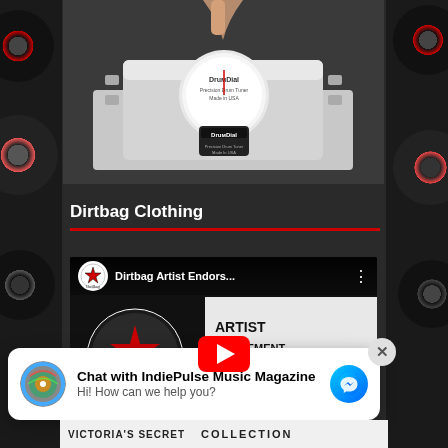[Figure (photo): Partial photo of a DruмDial drum tuner device on a drum, with a hand visible at top. Dark background.]
Dirtbag Clothing
[Figure (screenshot): YouTube video thumbnail showing 'Dirtbag Artist Endors...' with Dirtbag Clothing logo on left and 'ARTIST ENDORSEMENT PROGRAM' text on right. Red play button in center.]
Chat with IndiePulse Music Magazine
Hi! How can we help you?